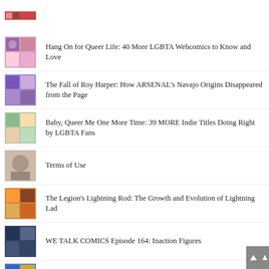Hang On for Queer Life: 40 More LGBTA Webcomics to Know and Love
The Fall of Roy Harper: How ARSENAL's Navajo Origins Disappeared from the Page
Baby, Queer Me One More Time: 39 MORE Indie Titles Doing Right by LGBTA Fans
Terms of Use
The Legion's Lightning Rod: The Growth and Evolution of Lightning Lad
WE TALK COMICS Episode 164: Inaction Figures
COMIC LOVE: Hawkgirl and Hawkman